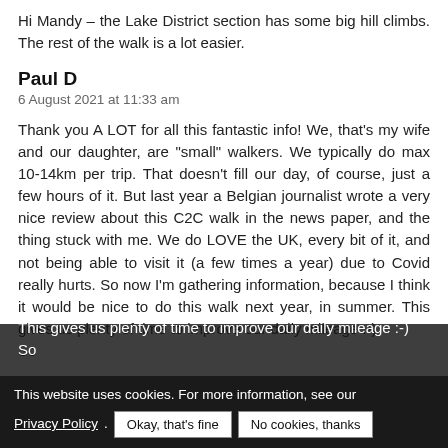Hi Mandy – the Lake District section has some big hill climbs. The rest of the walk is a lot easier.
Paul D
6 August 2021 at 11:33 am
Thank you A LOT for all this fantastic info! We, that's my wife and our daughter, are "small" walkers. We typically do max 10-14km per trip. That doesn't fill our day, of course, just a few hours of it. But last year a Belgian journalist wrote a very nice review about this C2C walk in the news paper, and the thing stuck with me. We do LOVE the UK, every bit of it, and not being able to visit it (a few times a year) due to Covid really hurts. So now I'm gathering information, because I think it would be nice to do this walk next year, in summer. This gives us plenty of time to improve our daily mileage :-) So more
This website uses cookies. For more information, see our Privacy Policy.
Okay, that's fine
No cookies, thanks